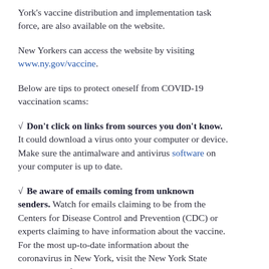York's vaccine distribution and implementation task force, are also available on the website.
New Yorkers can access the website by visiting www.ny.gov/vaccine.
Below are tips to protect oneself from COVID-19 vaccination scams:
√ Don't click on links from sources you don't know. It could download a virus onto your computer or device. Make sure the antimalware and antivirus software on your computer is up to date.
√ Be aware of emails coming from unknown senders. Watch for emails claiming to be from the Centers for Disease Control and Prevention (CDC) or experts claiming to have information about the vaccine. For the most up-to-date information about the coronavirus in New York, visit the New York State Department of